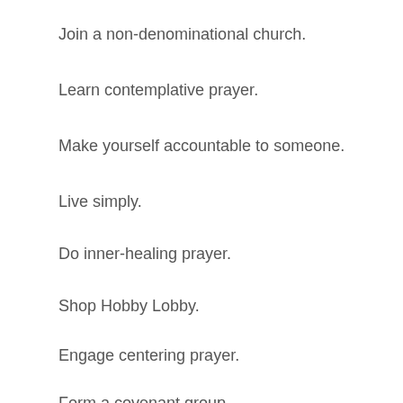Join a non-denominational church.
Learn contemplative prayer.
Make yourself accountable to someone.
Live simply.
Do inner-healing prayer.
Shop Hobby Lobby.
Engage centering prayer.
Form a covenant group.
Find a mentor.